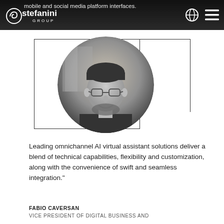mobile and social media platform interfaces.
[Figure (photo): Circular portrait photo of Fabio Caversan, a man with glasses and a beard, in black and white, overlapping a rectangular border frame]
Leading omnichannel AI virtual assistant solutions deliver a blend of technical capabilities, flexibility and customization, along with the convenience of swift and seamless integration."
FABIO CAVERSAN
VICE PRESIDENT OF DIGITAL BUSINESS AND